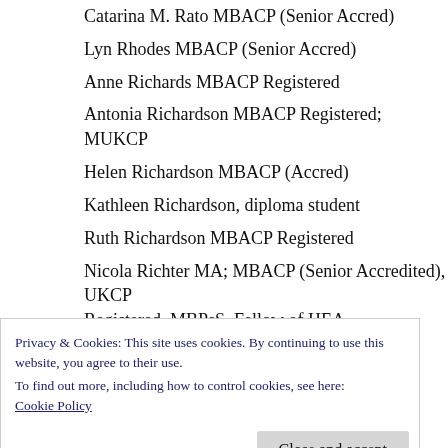Catarina M. Rato MBACP (Senior Accred)
Lyn Rhodes MBACP (Senior Accred)
Anne Richards MBACP Registered
Antonia Richardson MBACP Registered; MUKCP
Helen Richardson MBACP (Accred)
Kathleen Richardson, diploma student
Ruth Richardson MBACP Registered
Nicola Richter MA; MBACP (Senior Accredited), UKCP Registered, MBPsS, Fellow of HEA
Lindsay Riley MBACP Registered
Alison Rimmell MBACP (Accred)
Cashel Riordan MBACP (Accred)
Anne Robertson MBACP Registered
Cy Rodger MBACP Registered
Privacy & Cookies: This site uses cookies. By continuing to use this website, you agree to their use.
To find out more, including how to control cookies, see here: Cookie Policy
Andy Rushton UKCP Registered
Peter Ryan MBACP (Accred)